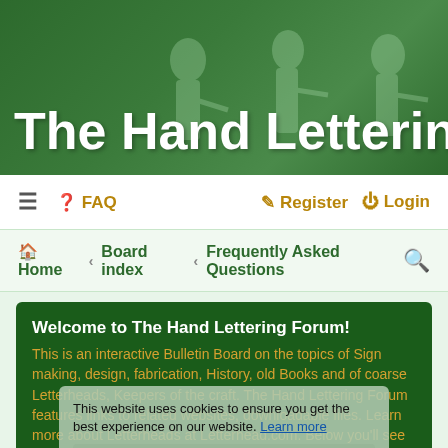[Figure (screenshot): Green banner header with illustrated figures of people writing/lettering in the background]
The Hand Lettering For
≡  ❓ FAQ    ✎ Register  ⏻ Login
🏠 Home › Board index › Frequently Asked Questions  🔍
Welcome to The Hand Lettering Forum! This is an interactive Bulletin Board on the topics of Sign making, design, fabrication, History, old Books and of coarse Letterheads, Keepers of the craft. The Hand Lettering Forum features links to related websites, downloadable files. Learn more about Letterheads at Letterhead.com. Below you'll see Mchat has been added as a live communication portal for trial, and the Main forum Links are listed below.
This website uses cookies to ensure you get the best experience on our website. Learn more
Got it!
Frequently Asked Questions